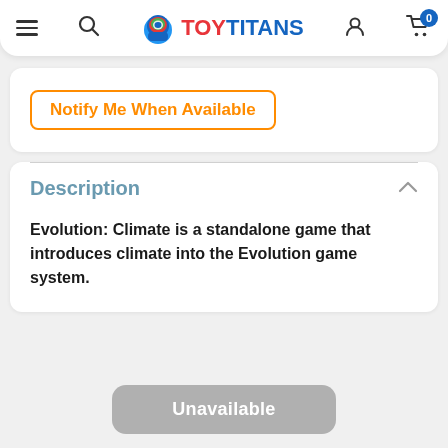ToyTitans - navigation header with hamburger menu, search, logo, user icon, cart (0)
Notify Me When Available
Description
Evolution: Climate is a standalone game that introduces climate into the Evolution game system.
Unavailable